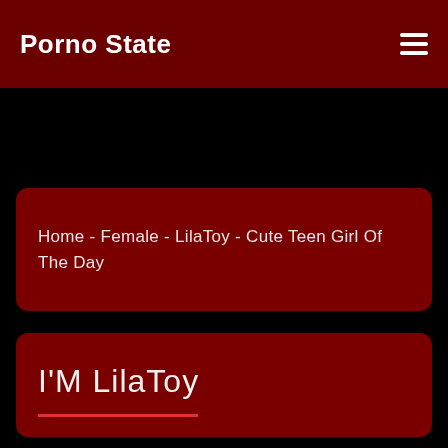Porno State
Home - Female - LilaToy - Cute Teen Girl Of The Day
I'M LilaToy